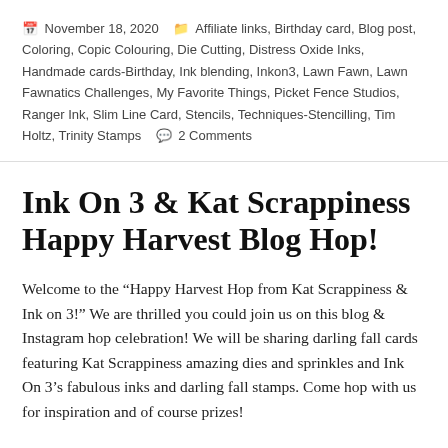November 18, 2020   Affiliate links, Birthday card, Blog post, Coloring, Copic Colouring, Die Cutting, Distress Oxide Inks, Handmade cards-Birthday, Ink blending, Inkon3, Lawn Fawn, Lawn Fawnatics Challenges, My Favorite Things, Picket Fence Studios, Ranger Ink, Slim Line Card, Stencils, Techniques-Stencilling, Tim Holtz, Trinity Stamps   2 Comments
Ink On 3 & Kat Scrappiness Happy Harvest Blog Hop!
Welcome to the “Happy Harvest Hop from Kat Scrappiness & Ink on 3!” We are thrilled you could join us on this blog & Instagram hop celebration! We will be sharing darling fall cards featuring Kat Scrappiness amazing dies and sprinkles and Ink On 3’s fabulous inks and darling fall stamps. Come hop with us for inspiration and of course prizes!